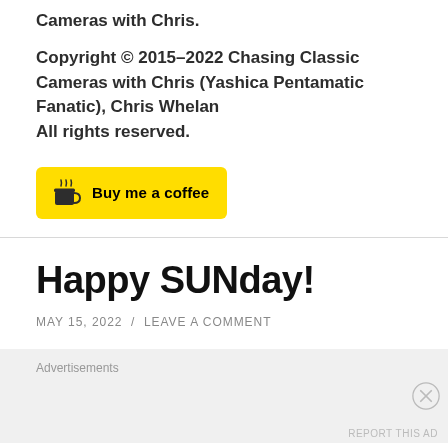Cameras with Chris.
Copyright © 2015–2022 Chasing Classic Cameras with Chris (Yashica Pentamatic Fanatic), Chris Whelan
All rights reserved.
[Figure (other): Yellow 'Buy me a coffee' button with coffee cup icon and handwritten-style text]
Happy SUNday!
MAY 15, 2022 / LEAVE A COMMENT
Advertisements